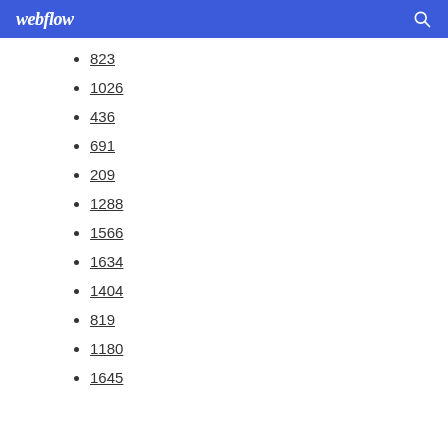webflow
823
1026
436
691
209
1288
1566
1634
1404
819
1180
1645